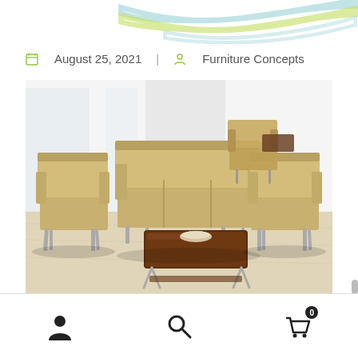decorative header with curves
August 25, 2021  |  Furniture Concepts
[Figure (photo): A modern waiting room furniture set: two armchairs on the left and right, a three-seat sofa in the center, an additional chair in the background, and a dark wood coffee table in the foreground. All upholstered in tan/beige fabric with chrome legs, set on a light wood floor.]
User icon | Search icon | Cart icon with badge 0